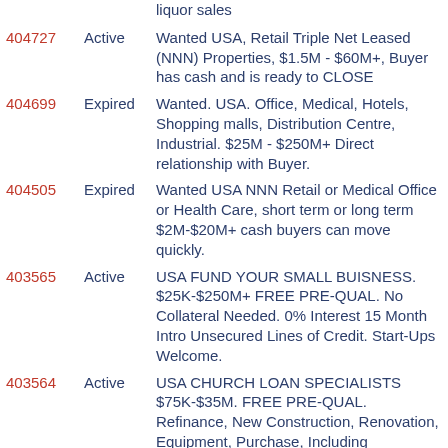liquor sales
404727 Active Wanted USA, Retail Triple Net Leased (NNN) Properties, $1.5M - $60M+, Buyer has cash and is ready to CLOSE
404699 Expired Wanted. USA. Office, Medical, Hotels, Shopping malls, Distribution Centre, Industrial. $25M - $250M+ Direct relationship with Buyer.
404505 Expired Wanted USA NNN Retail or Medical Office or Health Care, short term or long term $2M-$20M+ cash buyers can move quickly.
403565 Active USA FUND YOUR SMALL BUISNESS. $25K-$250M+ FREE PRE-QUAL. No Collateral Needed. 0% Interest 15 Month Intro Unsecured Lines of Credit. Start-Ups Welcome.
403564 Active USA CHURCH LOAN SPECIALISTS $75K-$35M. FREE PRE-QUAL. Refinance, New Construction, Renovation, Equipment, Purchase, Including